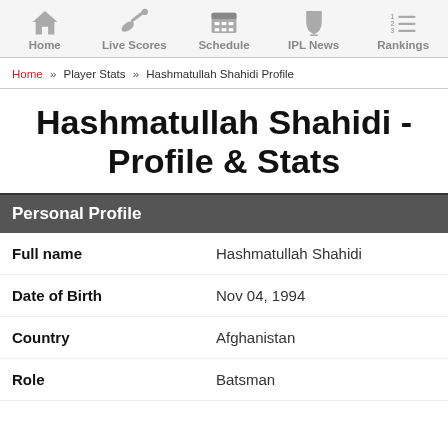Home | Live Scores | Schedule | IPL News | Rankings
Home » Player Stats » Hashmatullah Shahidi Profile
Hashmatullah Shahidi - Profile & Stats
Personal Profile
| Field | Value |
| --- | --- |
| Full name | Hashmatullah Shahidi |
| Date of Birth | Nov 04, 1994 |
| Country | Afghanistan |
| Role | Batsman |